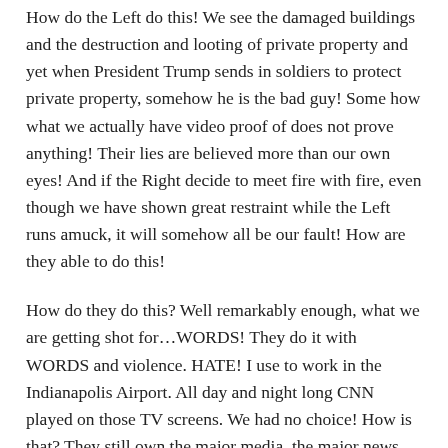How do the Left do this! We see the damaged buildings and the destruction and looting of private property and yet when President Trump sends in soldiers to protect private property, somehow he is the bad guy! Some how what we actually have video proof of does not prove anything! Their lies are believed more than our own eyes! And if the Right decide to meet fire with fire, even though we have shown great restraint while the Left runs amuck, it will somehow all be our fault! How are they able to do this!
How do they do this? Well remarkably enough, what we are getting shot for…WORDS! They do it with WORDS and violence. HATE! I use to work in the Indianapolis Airport. All day and night long CNN played on those TV screens. We had no choice! How is that? They still own the major media, the major news papers, and the Universities, as Mike Adams would attest to if he were still alive today! But his books, his words are still with us. There is so much HATE on the Left it